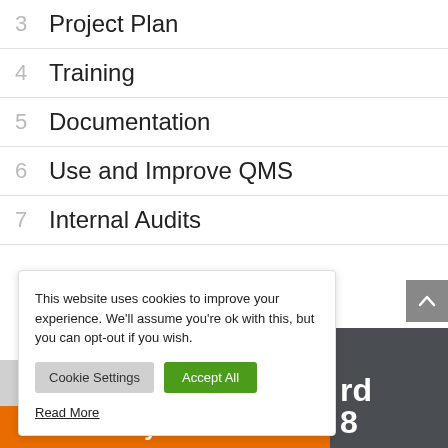3 Project Plan
4 Training
5 Documentation
6 Use and Improve QMS
7 Internal Audits
This website uses cookies to improve your experience. We'll assume you're ok with this, but you can opt-out if you wish.
Cookie Settings | Accept All | Read More
rd
8
Buy Now